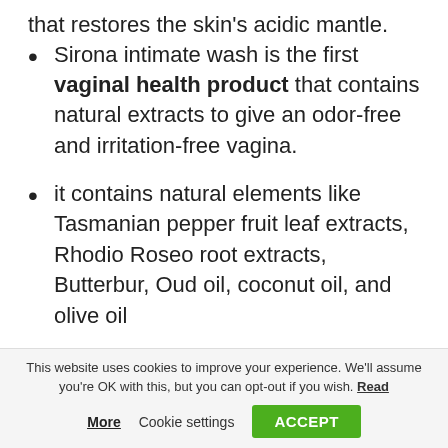that restores the skin's acidic mantle.
Sirona intimate wash is the first vaginal health product that contains natural extracts to give an odor-free and irritation-free vagina.
it contains natural elements like Tasmanian pepper fruit leaf extracts, Rhodio Roseo root extracts, Butterbur, Oud oil, coconut oil, and olive oil
This product contains no chemicals.
This website uses cookies to improve your experience. We'll assume you're OK with this, but you can opt-out if you wish. Read More   Cookie settings   ACCEPT